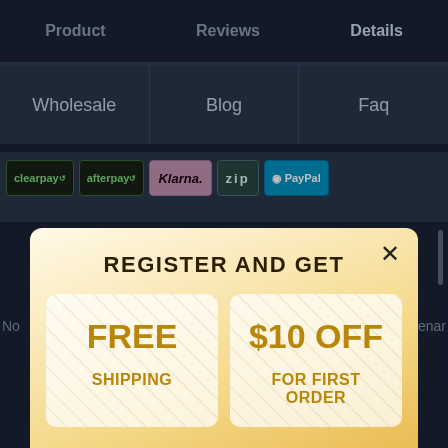Product   Reviews   Details
Wholesale   Blog   Faq
[Figure (screenshot): Payment provider logos row: clearpay, afterpay, Klarna, zip, PayPal]
REGISTER AND GET
FREE SHIPPING
$10 OFF FOR FIRST ORDER